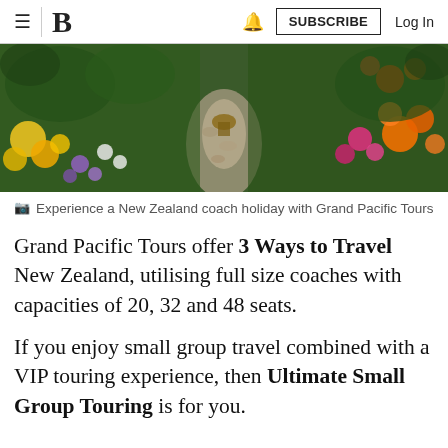≡  B  🔔  SUBSCRIBE  Log In
[Figure (photo): Colorful garden with flowers including marigolds, pink flowers, and other vibrant blooms along a stone path, viewed from above. New Zealand coach holiday scene.]
📷 Experience a New Zealand coach holiday with Grand Pacific Tours
Grand Pacific Tours offer 3 Ways to Travel New Zealand, utilising full size coaches with capacities of 20, 32 and 48 seats.
If you enjoy small group travel combined with a VIP touring experience, then Ultimate Small Group Touring is for you.